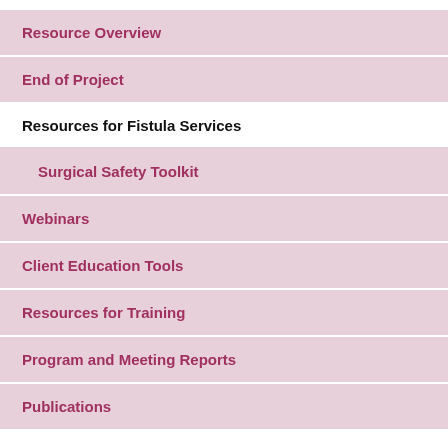Resource Overview
End of Project
Resources for Fistula Services
Surgical Safety Toolkit
Webinars
Client Education Tools
Resources for Training
Program and Meeting Reports
Publications